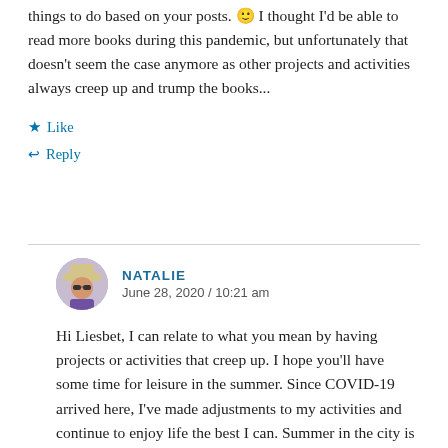things to do based on your posts. 🙂 I thought I'd be able to read more books during this pandemic, but unfortunately that doesn't seem the case anymore as other projects and activities always creep up and trump the books...
★ Like
↩ Reply
NATALIE
June 28, 2020 / 10:21 am
Hi Liesbet, I can relate to what you mean by having projects or activities that creep up. I hope you'll have some time for leisure in the summer. Since COVID-19 arrived here, I've made adjustments to my activities and continue to enjoy life the best I can. Summer in the city is actually pretty good. For me, I always have more things I want to explore and enjoy than the available